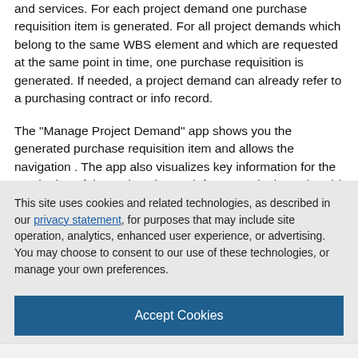and services. For each project demand one purchase requisition item is generated. For all project demands which belong to the same WBS element and which are requested at the same point in time, one purchase requisition is generated. If needed, a project demand can already refer to a purchasing contract or info record.
The "Manage Project Demand" app shows you the generated purchase requisition item and allows the navigation . The app also visualizes key information for the monitoring of the project demand, for example the ordered / delivered quantity or the net
This site uses cookies and related technologies, as described in our privacy statement, for purposes that may include site operation, analytics, enhanced user experience, or advertising. You may choose to consent to our use of these technologies, or manage your own preferences.
Accept Cookies
More Information
Privacy Policy | Powered by: TrustArc